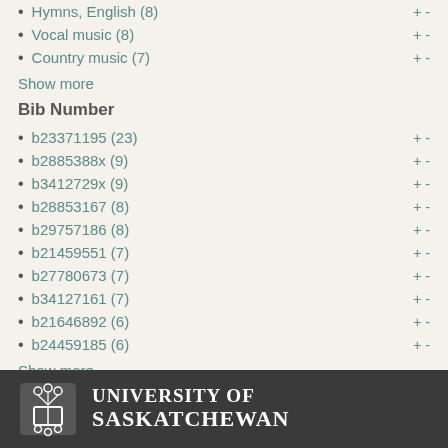Hymns, English (8)
Vocal music (8)
Country music (7)
Show more
Bib Number
b23371195 (23)
b2885388x (9)
b3412729x (9)
b28853167 (8)
b29757186 (8)
b21459551 (7)
b27780673 (7)
b34127161 (7)
b21646892 (6)
b24459185 (6)
Show more
[Figure (logo): University of Saskatchewan logo with crest and wordmark on dark grey footer bar]